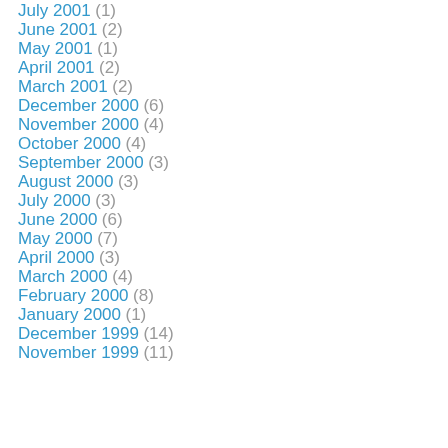July 2001 (1)
June 2001 (2)
May 2001 (1)
April 2001 (2)
March 2001 (2)
December 2000 (6)
November 2000 (4)
October 2000 (4)
September 2000 (3)
August 2000 (3)
July 2000 (3)
June 2000 (6)
May 2000 (7)
April 2000 (3)
March 2000 (4)
February 2000 (8)
January 2000 (1)
December 1999 (14)
November 1999 (11)